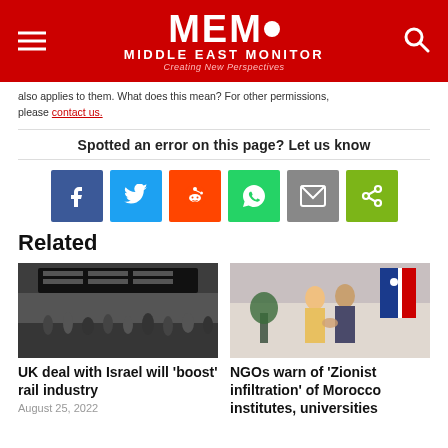MEMO MIDDLE EAST MONITOR Creating New Perspectives
also applies to them. What does this mean? For other permissions, please contact us.
Spotted an error on this page? Let us know
[Figure (infographic): Social share buttons: Facebook, Twitter, Reddit, WhatsApp, Email, Share]
Related
[Figure (photo): Crowd of people in a busy railway station]
UK deal with Israel will 'boost' rail industry
August 25, 2022
[Figure (photo): Two people shaking hands in front of flags]
NGOs warn of 'Zionist infiltration' of Morocco institutes, universities